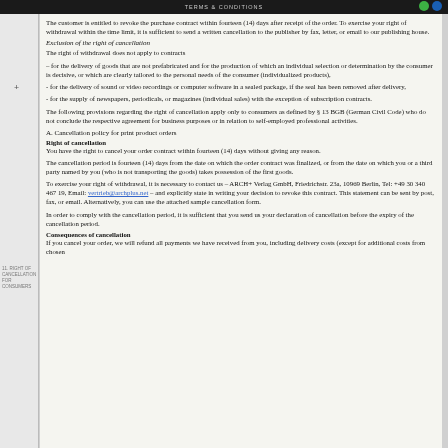TERMS & CONDITIONS
The customer is entitled to revoke the purchase contract within fourteen (14) days after receipt of the order. To exercise your right of withdrawal within the time limit, it is sufficient to send a written cancellation to the publisher by fax, letter, or email to our publishing house.
Exclusion of the right of cancellation
The right of withdrawal does not apply to contracts
– for the delivery of goods that are not prefabricated and for the production of which an individual selection or determination by the consumer is decisive, or which are clearly tailored to the personal needs of the consumer (individualized products),
- for the delivery of sound or video recordings or computer software in a sealed package, if the seal has been removed after delivery,
- for the supply of newspapers, periodicals, or magazines (individual sales) with the exception of subscription contracts.
The following provisions regarding the right of cancellation apply only to consumers as defined by § 13 BGB (German Civil Code) who do not conclude the respective agreement for business purposes or in relation to self-employed professional activities.
A. Cancellation policy for print product orders
Right of cancellation
You have the right to cancel your order contract within fourteen (14) days without giving any reason.
The cancellation period is fourteen (14) days from the date on which the order contract was finalized, or from the date on which you or a third party named by you (who is not transporting the goods) takes possession of the first goods.
To exercise your right of withdrawal, it is necessary to contact us – ARCH+ Verlag GmbH, Friedrichstr. 23a, 10969 Berlin, Tel: +49 30 340 467 19, Email: vertrieb@archplus.net – and explicitly state in writing your decision to revoke this contract. This statement can be sent by post, fax, or email. Alternatively, you can use the attached sample cancellation form.
In order to comply with the cancellation period, it is sufficient that you send us your declaration of cancellation before the expiry of the cancellation period.
Consequences of cancellation
If you cancel your order, we will refund all payments we have received from you, including delivery costs (except for additional costs from chosen